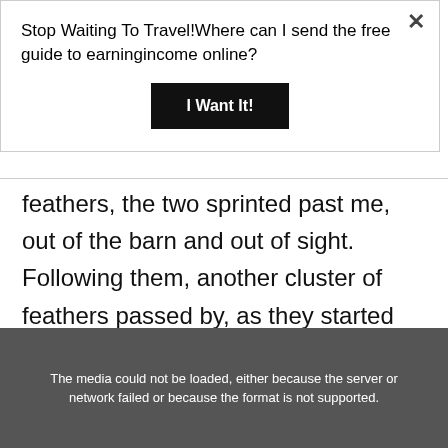Stop Waiting To Travel!Where can I send the free guide to earningincome online?
I Want It!
feathers, the two sprinted past me, out of the barn and out of sight. Following them, another cluster of feathers passed by, as they started doing their laps around the house, or the zoomies as the host called it.
[Figure (photo): Dark/dimmed background image with error message: The media could not be loaded, either because the server or network failed or because the format is not supported.]